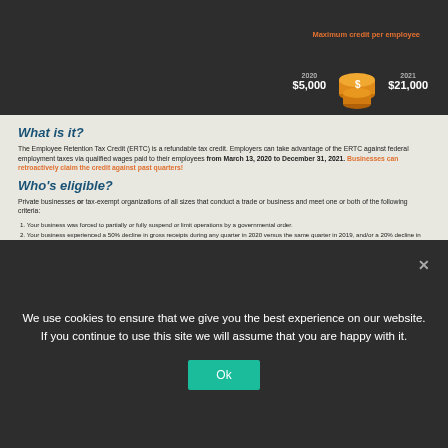[Figure (infographic): Dark header with 'Maximum credit per employee' label and coin stack illustration showing 2020: $5,000 and 2021: $21,000]
What is it?
The Employee Retention Tax Credit (ERTC) is a refundable tax credit. Employers can take advantage of the ERTC against federal employment taxes via qualified wages paid to their employees from March 13, 2020 to December 31, 2021. Businesses can retroactively claim the credit against past quarters!
Who's eligible?
Private businesses or tax-exempt organizations of all sizes that conduct a trade or business and meet one or both of the following criteria:
1. Your business was forced to partially or fully suspend or limit operations by a governmental order.
2. Your business experienced a 50% decline in gross receipts during any quarter in 2020 versus the same quarter in 2019, and/or a 20% decline in gross receipts during any quarter in 2021 versus the same quarter in 2019.
How to claim the credit
We strongly recommend that you speak with a Certified Public Accountant (CPA) to maximize the value of the ERTC. The SF Chamber of Commerce has a list of local CPAs at link.oewd.org/CPA.
To claim the credit retroactively, file a Form 941-X, Adjusted Employer's Quarterly Federal Tax Return
To claim the credit currently, file a Form 941, Employer's Quarterly Federal Tax Return
To claim the credit in advance, file a Form 7200, Advance Payment of Employer Credits Due to COVID-19
We use cookies to ensure that we give you the best experience on our website. If you continue to use this site we will assume that you are happy with it.